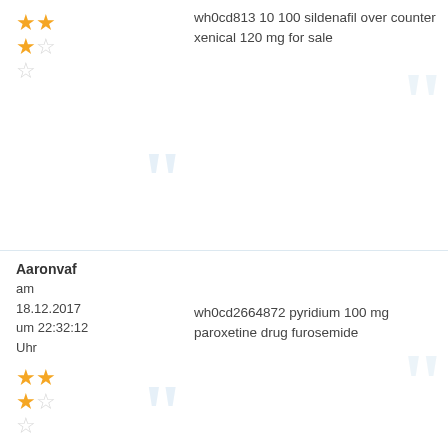wh0cd813 10 100 sildenafil over counter xenical 120 mg for sale
Aaronvaf am 18.12.2017 um 22:32:12 Uhr
wh0cd2664872 pyridium 100 mg paroxetine drug furosemide
Charlesdar am 18.12.2017 um 17:23:17 Uhr
wh0cd730488 orlistat 120mg ventolin discount Lisinopril mobic price cephalexin cephalexin 500